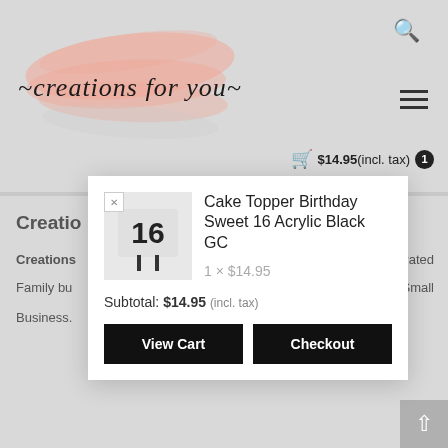[Figure (logo): Creations for you logo with pink brush stroke background and cursive script text]
🔍
☰
🛒 $14.95 (incl. tax) 1
[Figure (screenshot): Cart dropdown popup with Cake Topper Birthday Sweet 16 Acrylic Black GC product, 1 x $14.95, Subtotal: $14.95 (incl. tax), View Cart and Checkout buttons]
Cake Topper Birthday Sweet 16 Acrylic Black GC
1 × $14.95
Subtotal: $14.95 (incl. tax)
View Cart
Checkout
Creatio
Creations
Family bu
Business.